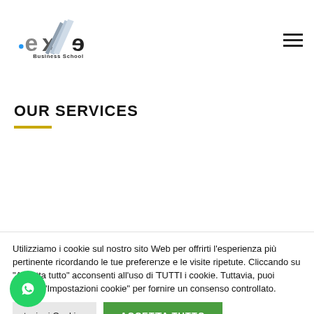[Figure (logo): exe Business School logo with stylized arrow graphic]
OUR SERVICES
Utilizziamo i cookie sul nostro sito Web per offrirti l'esperienza più pertinente ricordando le tue preferenze e le visite ripetute. Cliccando su "Accetta tutto" acconsenti all'uso di TUTTI i cookie. Tuttavia, puoi visitare "Impostazioni cookie" per fornire un consenso controllato.
Impostazioni Cookies
ACCETTA TUTTO